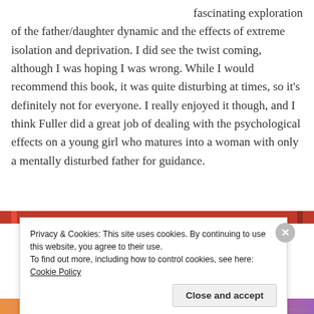fascinating exploration of the father/daughter dynamic and the effects of extreme isolation and deprivation. I did see the twist coming, although I was hoping I was wrong. While I would recommend this book, it was quite disturbing at times, so it's definitely not for everyone. I really enjoyed it though, and I think Fuller did a great job of dealing with the psychological effects on a young girl who matures into a woman with only a mentally disturbed father for guidance.
[Figure (other): Red/dark-red horizontal bar spanning the width of the page, appearing as a rating or progress bar element]
Privacy & Cookies: This site uses cookies. By continuing to use this website, you agree to their use.
To find out more, including how to control cookies, see here: Cookie Policy
Close and accept
[Figure (other): Colorful bottom strip with orange, red, and purple gradient colors]